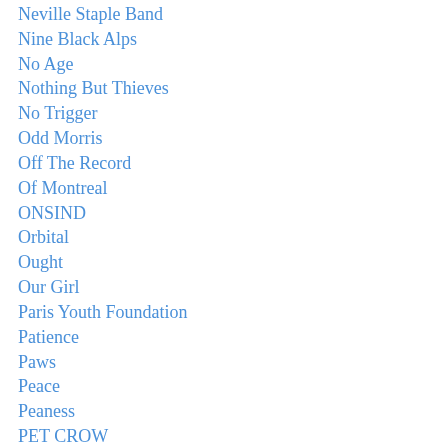Neville Staple Band
Nine Black Alps
No Age
Nothing But Thieves
No Trigger
Odd Morris
Off The Record
Of Montreal
ONSIND
Orbital
Ought
Our Girl
Paris Youth Foundation
Patience
Paws
Peace
Peaness
PET CROW
Peter Hook And The Light
Petite Noir